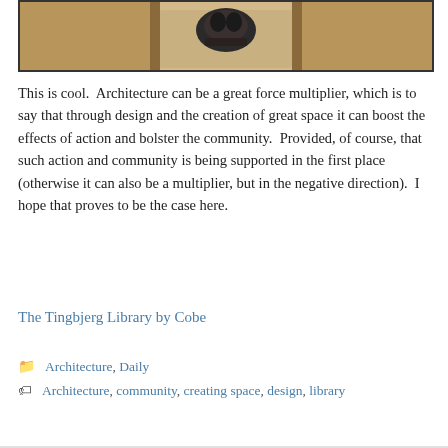[Figure (photo): Partial view of a wooden shelf or architectural installation with a dark figure/animal visible in the middle compartment, against a warm tan/beige wooden background. Image is cropped showing only the bottom portion.]
This is cool.  Architecture can be a great force multiplier, which is to say that through design and the creation of great space it can boost the effects of action and bolster the community.  Provided, of course, that such action and community is being supported in the first place (otherwise it can also be a multiplier, but in the negative direction).  I hope that proves to be the case here.
The Tingbjerg Library by Cobe
Architecture, Daily
Architecture, community, creating space, design, library